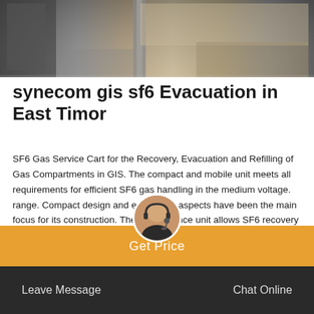[Figure (photo): Industrial equipment photo banner showing engineering/electrical infrastructure]
synecom gis sf6 Evacuation in East Timor
SF6 Gas Service Cart for the Recovery, Evacuation and Refilling of Gas Compartments in GIS. The compact and mobile unit meets all requirements for efficient SF6 gas handling in the medium voltage. range. Compact design and ergonomic aspects have been the main focus for its construction. The maintenance unit allows SF6 recovery down to a final
Get Price | Leave Message | Chat Online